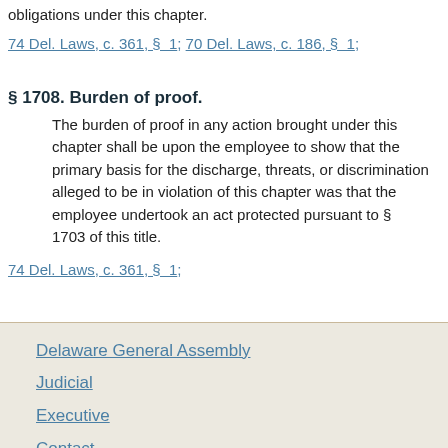obligations under this chapter.
74 Del. Laws, c. 361, §  1;  70 Del. Laws, c. 186, §  1;
§ 1708. Burden of proof.
The burden of proof in any action brought under this chapter shall be upon the employee to show that the primary basis for the discharge, threats, or discrimination alleged to be in violation of this chapter was that the employee undertook an act protected pursuant to §  1703 of this title.
74 Del. Laws, c. 361, §  1;
Delaware General Assembly
Judicial
Executive
Contact
Twitter
Help